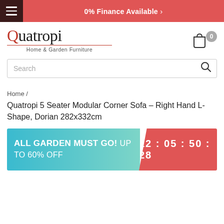0% Finance Available >
[Figure (logo): Quatropi Home & Garden Furniture logo with red Q letter and red underline]
Search
Home /
Quatropi 5 Seater Modular Corner Sofa - Right Hand L-Shape, Dorian 282x332cm
[Figure (infographic): ALL GARDEN MUST GO! UP TO 60% OFF promotional banner with countdown timer 12 : 05 : 50 : 28]